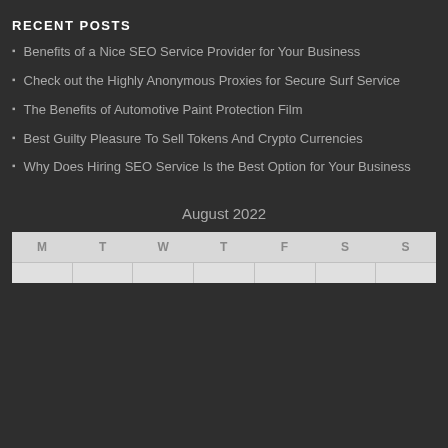RECENT POSTS
Benefits of a Nice SEO Service Provider for Your Business
Check out the Highly Anonymous Proxies for Secure Surf Service
The Benefits of Automotive Paint Protection Film
Best Guilty Pleasure To Sell Tokens And Crypto Currencies
Why Does Hiring SEO Service Is the Best Option for Your Business
August 2022
| M | T | W | T | F | S | S |
| --- | --- | --- | --- | --- | --- | --- |
|  |  |  |  |  |  |  |